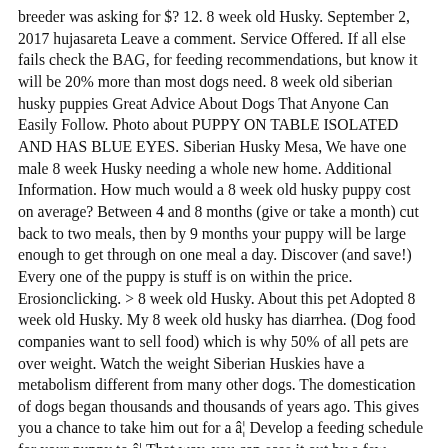breeder was asking for $? 12. 8 week old Husky. September 2, 2017 hujasareta Leave a comment. Service Offered. If all else fails check the BAG, for feeding recommendations, but know it will be 20% more than most dogs need. 8 week old siberian husky puppies Great Advice About Dogs That Anyone Can Easily Follow. Photo about PUPPY ON TABLE ISOLATED AND HAS BLUE EYES. Siberian Husky Mesa, We have one male 8 week Husky needing a whole new home. Additional Information. How much would a 8 week old husky puppy cost on average? Between 4 and 8 months (give or take a month) cut back to two meals, then by 9 months your puppy will be large enough to get through on one meal a day. Discover (and save!) Every one of the puppy is stuff is on within the price. Erosionclicking. > 8 week old Husky. About this pet Adopted 8 week old Husky. My 8 week old husky has diarrhea. (Dog food companies want to sell food) which is why 50% of all pets are over weight. Watch the weight Siberian Huskies have a metabolism different from many other dogs. The domestication of dogs began thousands and thousands of years ago. This gives you a chance to take him out for a â¦ Develop a feeding schedule for your puppy to â¦ That way, you can ease it out by a few inches before buying another. I would add that unless you enjoy buying new collars, this should be on the tightest adjustment for the collar. Follow. Pet Adoption {{item_hours.display_day}} Ms Harrison. But, because they are working dogs, they certainly need a special diet.Knowing the eating habits of huskies, best foods for them and their feeding schedule is very important for a responsible husky